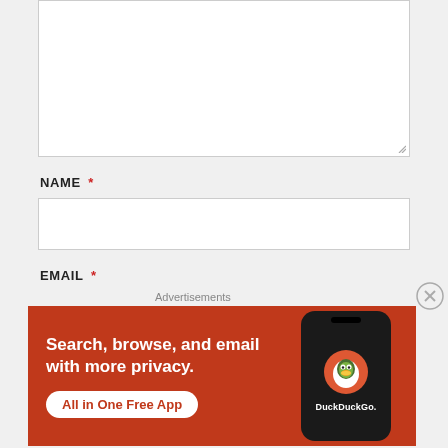[Figure (screenshot): Text area input box, partially visible at top, with resize handle at bottom-right corner]
NAME *
[Figure (screenshot): Name text input field, empty white box]
EMAIL *
Advertisements
[Figure (infographic): DuckDuckGo advertisement banner with orange background. Text: 'Search, browse, and email with more privacy. All in One Free App'. Shows a smartphone with DuckDuckGo logo and branding.]